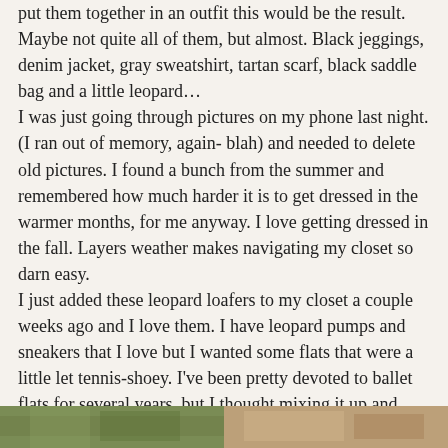put them together in an outfit this would be the result.  Maybe not quite all of them, but almost.  Black jeggings, denim jacket, gray sweatshirt, tartan scarf, black saddle bag and a little leopard…
I was just going through pictures on my phone last night. (I ran out of memory, again- blah) and needed to delete old pictures.  I found a bunch from the summer and remembered how much harder it is to get dressed in the warmer months, for me anyway.  I love getting dressed in the fall.  Layers weather makes navigating my closet so darn easy.
I just added these leopard loafers to my closet a couple weeks ago and I love them.  I have leopard pumps and sneakers that I love but I wanted some flats that were a little let tennis-shoey.  I've been pretty devoted to ballet flats for several years, but I thought mixing it up and trying a loafer flat would be a refreshing addition and it turns out it is.
Speaking of cleaning off pictures, can anyone tell me if there is a way to delete pictures on your iPhone in bulk without having to select them one at a time?  Because seriously.  It takes FOR-EV-ER.
[Figure (photo): Two small photo thumbnails at the bottom of the page — left appears to show green/outdoor scene, right appears to show a tan/brown scene]